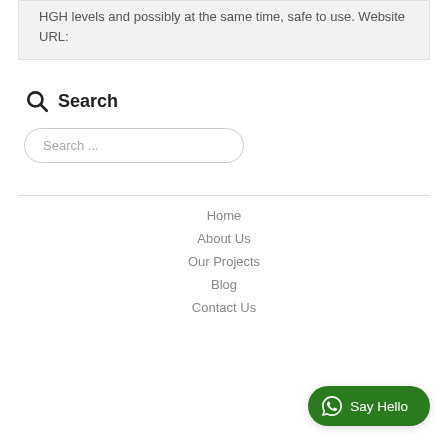HGH levels and possibly at the same time, safe to use. Website URL:
Search
Search ...
Home
About Us
Our Projects
Blog
Contact Us